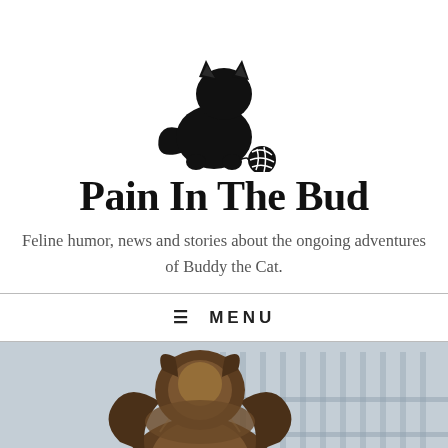[Figure (logo): Black cat silhouette logo — a cat sitting and playing with a ball of yarn]
Pain In The Bud
Feline humor, news and stories about the ongoing adventures of Buddy the Cat.
≡ MENU
[Figure (photo): A fluffy long-haired cat viewed from behind, looking upward, against a blurred outdoor background with a fence.]
Follow ...